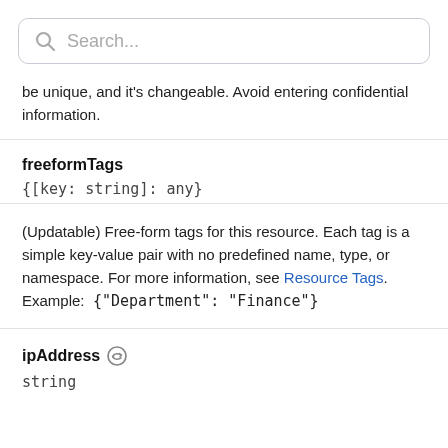[Figure (screenshot): Search bar with magnifying glass icon and placeholder text 'Search...']
be unique, and it's changeable. Avoid entering confidential information.
freeformTags
{[key: string]: any}
(Updatable) Free-form tags for this resource. Each tag is a simple key-value pair with no predefined name, type, or namespace. For more information, see Resource Tags. Example:  {"Department": "Finance"}
ipAddress
string